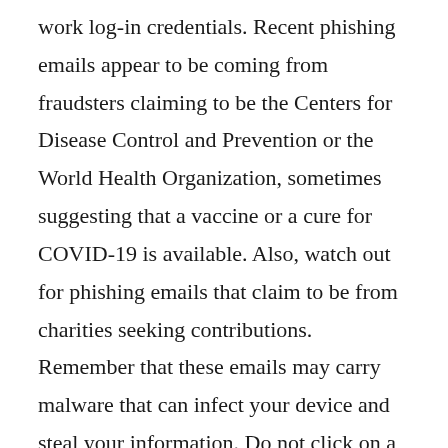work log-in credentials. Recent phishing emails appear to be coming from fraudsters claiming to be the Centers for Disease Control and Prevention or the World Health Organization, sometimes suggesting that a vaccine or a cure for COVID-19 is available. Also, watch out for phishing emails that claim to be from charities seeking contributions. Remember that these emails may carry malware that can infect your device and steal your information. Do not click on a link or open an attachment in an email that you were not expecting or that looks suspicious. Furthermore, do not reveal personal or financial information in